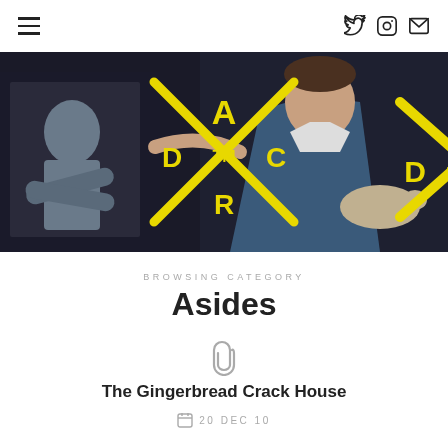≡  (navigation icons: twitter, instagram, mail)
[Figure (photo): Dark painted artwork showing a man in blue shirt examining a screen/window showing a grey figure, with a rat/animal in his hands. Yellow ADTMCR X-logo overlay in center.]
BROWSING CATEGORY
Asides
[Figure (illustration): Paperclip/link icon]
The Gingerbread Crack House
20 DEC 10